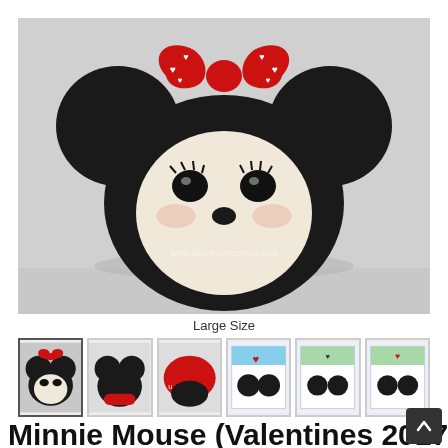[Figure (photo): Large Minnie Mouse Tsum Tsum figurine (Valentines 2017 edition) with red bow decorated with white hearts, black and cream face with eyelashes, small black nose, photographed on gray background. Watermark reads www.tsumtsumcentral.com]
Large Size
[Figure (photo): Six thumbnail images showing different views and packaging of the Minnie Mouse Valentines 2017 Tsum Tsum: front view, side view, top/bottom view, and three packaging shots]
Minnie Mouse (Valentines 2017